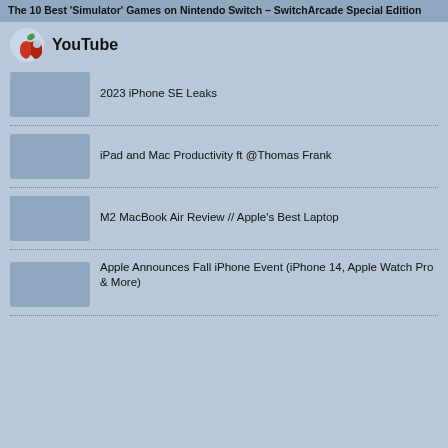The 10 Best 'Simulator' Games on Nintendo Switch – SwitchArcade Special Edition
YouTube
2023 iPhone SE Leaks
iPad and Mac Productivity ft @Thomas Frank
M2 MacBook Air Review // Apple's Best Laptop
Apple Announces Fall iPhone Event (iPhone 14, Apple Watch Pro & More)